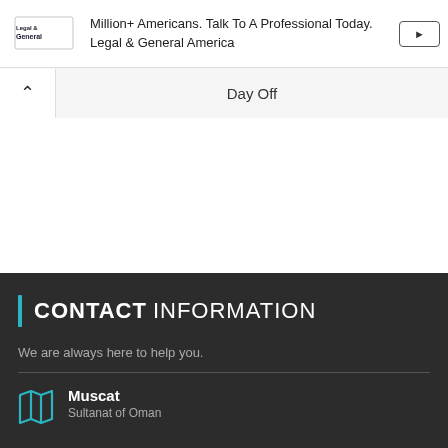[Figure (screenshot): Advertisement banner with Legal & General logo, text 'Million+ Americans. Talk To A Professional Today. Legal & General America', and a button]
Day Off
CONTACT INFORMATION
We are always here to help you.
Muscat
Sultanat of Oman